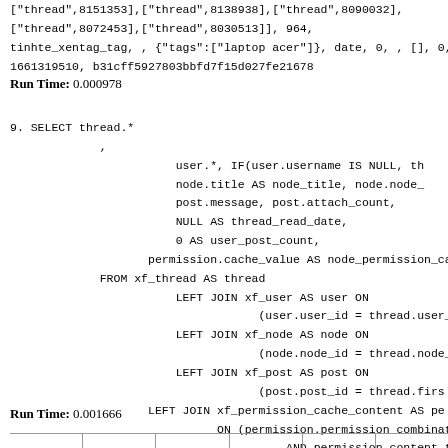["thread",8151353],["thread",8138938],["thread",8090032], ["thread",8072453],["thread",8030513]], 964, tinhte_xentag_tag, , {"tags":["laptop acer"]}, date, 0, , [], 0, 1661319510, b31cff5927803bbfd7f15d027fe21678 Run Time: 0.000978
9. SELECT thread.*
             ,
                        user.*, IF(user.username IS NULL, th
                        node.title AS node_title, node.node_
                        post.message, post.attach_count,
                        NULL AS thread_read_date,
                        0 AS user_post_count,
                    permission.cache_value AS node_permission_ca
             FROM xf_thread AS thread
                        LEFT JOIN xf_user AS user ON
                                    (user.user_id = thread.user_
                        LEFT JOIN xf_node AS node ON
                                    (node.node_id = thread.node_
                        LEFT JOIN xf_post AS post ON
                                    (post.post_id = thread.firs
                    LEFT JOIN xf_permission_cache_content AS pe
                              ON (permission.permission_combinati
                                        AND permission.content_type
                                        AND permission.content_id =
             WHERE thread.thread_id IN (8165909, 8164239, 816415

Run Time: 0.001666
|  |